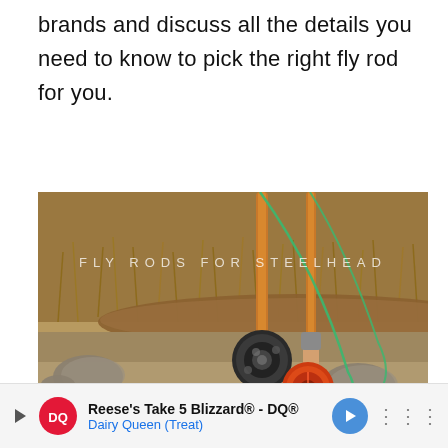brands and discuss all the details you need to know to pick the right fly rod for you.
[Figure (photo): Photo of two fly fishing rods with reels resting on rocks and sandy ground outdoors, with dry grass and a log in the background. Green fishing line visible. Text overlay reads 'FLY RODS FOR STEELHEAD'.]
Reese's Take 5 Blizzard® - DQ® Dairy Queen (Treat)